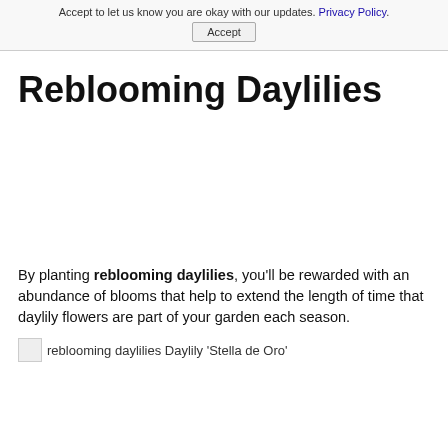Accept to let us know you are okay with our updates. Privacy Policy. Accept
Reblooming Daylilies
By planting reblooming daylilies, you'll be rewarded with an abundance of blooms that help to extend the length of time that daylily flowers are part of your garden each season.
[Figure (photo): reblooming daylilies Daylily 'Stella de Oro']